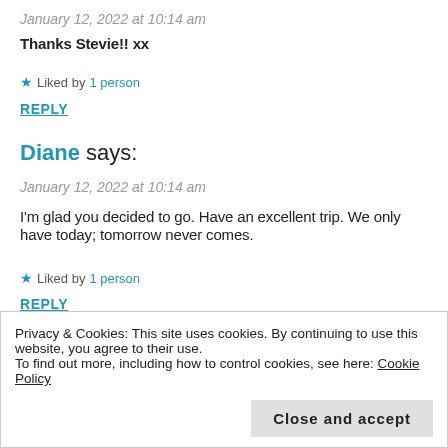January 12, 2022 at 10:14 am
Thanks Stevie!! xx
★ Liked by 1 person
REPLY
Diane says:
January 12, 2022 at 10:14 am
I'm glad you decided to go. Have an excellent trip. We only have today; tomorrow never comes.
★ Liked by 1 person
REPLY
Privacy & Cookies: This site uses cookies. By continuing to use this website, you agree to their use.
To find out more, including how to control cookies, see here: Cookie Policy
Close and accept